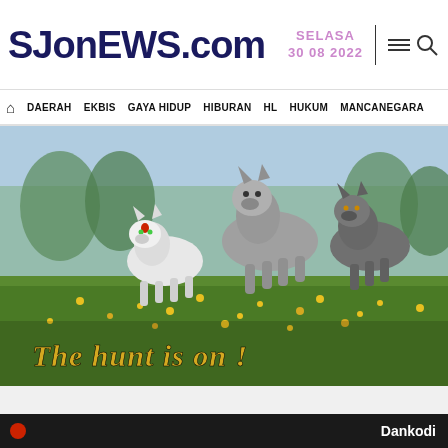SJONEWS.COM
SELASA 30 08 2022
DAERAH  EKBIS  GAYA HIDUP  HIBURAN  HL  HUKUM  MANCANEGARA
[Figure (photo): Three wolves running through a field of yellow flowers. Text overlay reads 'THE HUNT IS ON !']
Dankodi